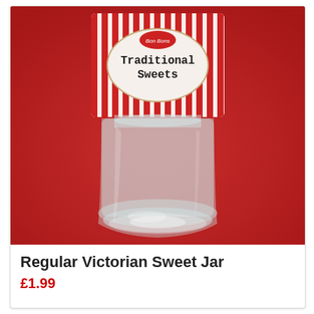[Figure (photo): A glass Victorian sweet jar with a white label featuring red vertical stripes and an oval badge reading 'Bon Bons Traditional Sweets' in typewriter-style font. The jar is sitting on a red cloth background. The jar is clear glass with a round base.]
Regular Victorian Sweet Jar
£1.99